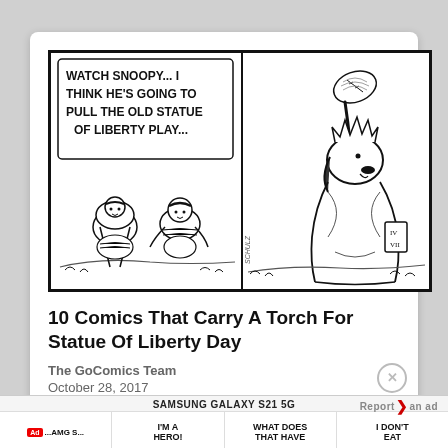[Figure (illustration): Peanuts comic strip in two panels. Left panel: two characters in football gear crouching, speech bubble reads 'WATCH SNOOPY... I THINK HE'S GOING TO PULL THE OLD STATUE OF LIBERTY PLAY...'. Right panel: Snoopy dressed as the Statue of Liberty, holding a football aloft.]
10 Comics That Carry A Torch For Statue Of Liberty Day
The GoComics Team
October 28, 2017
SAMSUNG GALAXY S21 5G   Report an ad   Ad  ...AMG S...  I'M A HERO!  WHAT DOES THAT HAVE  I DON'T EAT